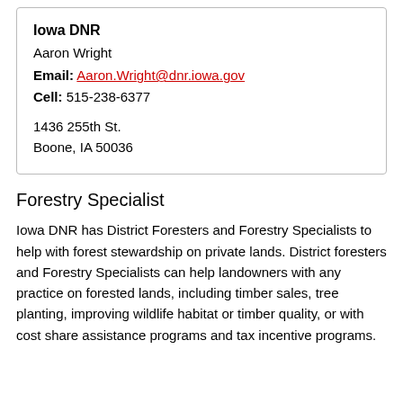Iowa DNR
Aaron Wright
Email: Aaron.Wright@dnr.iowa.gov
Cell: 515-238-6377

1436 255th St.
Boone, IA 50036
Forestry Specialist
Iowa DNR has District Foresters and Forestry Specialists to help with forest stewardship on private lands. District foresters and Forestry Specialists can help landowners with any practice on forested lands, including timber sales, tree planting, improving wildlife habitat or timber quality, or with cost share assistance programs and tax incentive programs.